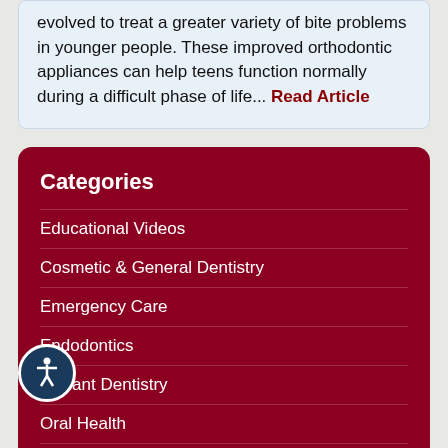evolved to treat a greater variety of bite problems in younger people. These improved orthodontic appliances can help teens function normally during a difficult phase of life... Read Article
Categories
Educational Videos
Cosmetic & General Dentistry
Emergency Care
Endodontics
Implant Dentistry
Oral Health
Hygiene
Oral Surgery